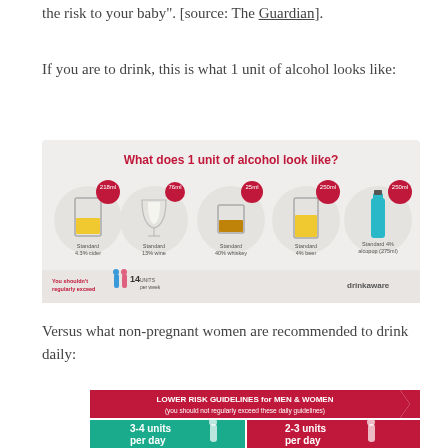the risk to your baby". [source: The Guardian].
If you are to drink, this is what 1 unit of alcohol looks like:
[Figure (infographic): Drinkaware infographic showing what 1 unit of alcohol looks like: 218ml Standard 4.3% cider, 76ml Standard 13% wine, 25ml Standard 40% whiskey, 250ml Standard 4% beer, 250ml Standard 4% alcopop (275ml). Bottom note: You shouldn't regularly exceed 14 units per week.]
Versus what non-pregnant women are recommended to drink daily:
[Figure (infographic): Lower Risk Guidelines for Men & Women infographic showing 3-4 units per day for men and 2-3 units per day for women.]